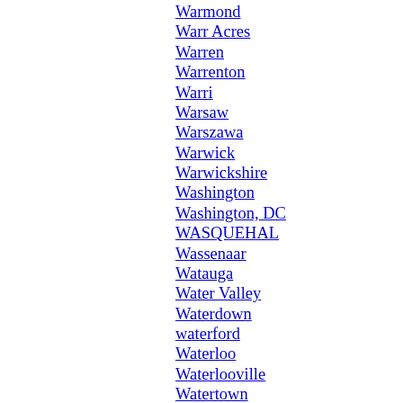Warmond
Warr Acres
Warren
Warrenton
Warri
Warsaw
Warszawa
Warwick
Warwickshire
Washington
Washington, DC
WASQUEHAL
Wassenaar
Watauga
Water Valley
Waterdown
waterford
Waterloo
Waterlooville
Watertown
Wates
watford
Watseka
Watsonville
wAUKESHA